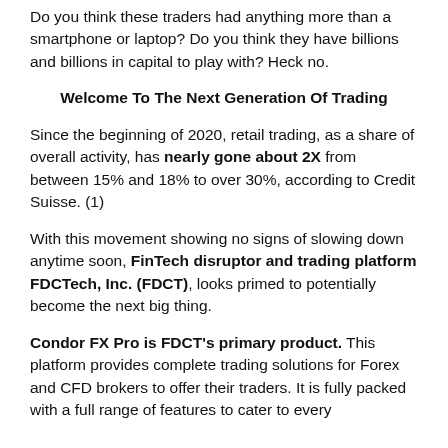Do you think these traders had anything more than a smartphone or laptop? Do you think they have billions and billions in capital to play with? Heck no.
Welcome To The Next Generation Of Trading
Since the beginning of 2020, retail trading, as a share of overall activity, has nearly gone about 2X from between 15% and 18% to over 30%, according to Credit Suisse. (1)
With this movement showing no signs of slowing down anytime soon, FinTech disruptor and trading platform FDCTech, Inc. (FDCT), looks primed to potentially become the next big thing.
Condor FX Pro is FDCT's primary product. This platform provides complete trading solutions for Forex and CFD brokers to offer their traders. It is fully packed with a full range of features to cater to every